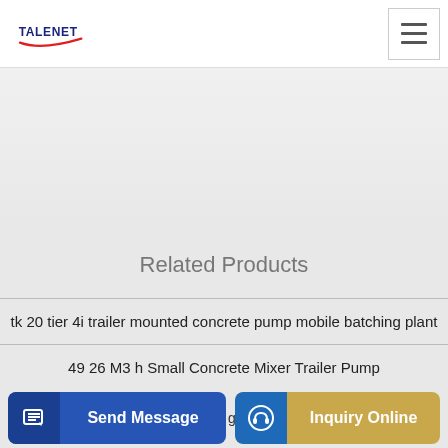TALENET
[Figure (screenshot): Light gray hero/banner area representing a concrete batching plant product image]
Related Products
tk 20 tier 4i trailer mounted concrete pump mobile batching plant
49 26 M3 h Small Concrete Mixer Trailer Pump
grout
Send Message | Inquiry Online